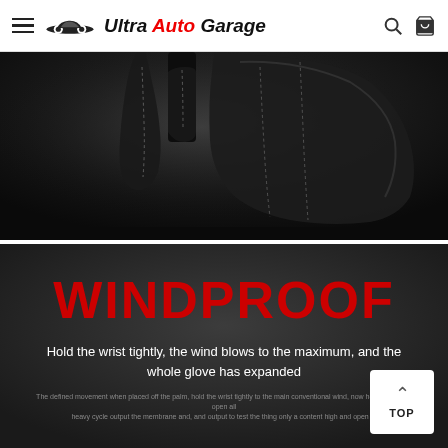Ultra Auto Garage
[Figure (photo): Close-up product photo of black leather motorcycle/cycling gloves on dark background, showing wrist area with stitching detail]
[Figure (infographic): Dark background promotional section with large red WINDPROOF heading and white descriptive text about wind resistance feature]
WINDPROOF
Hold the wrist tightly, the wind blows to the maximum, and the whole glove has expanded